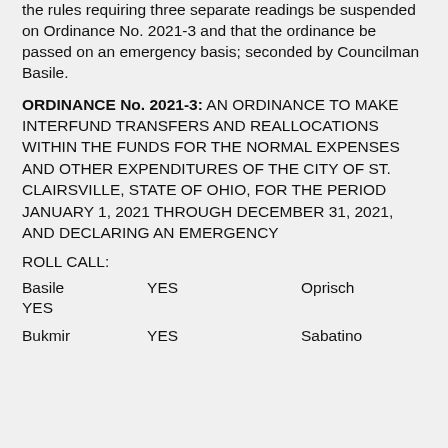the rules requiring three separate readings be suspended on Ordinance No. 2021-3 and that the ordinance be passed on an emergency basis; seconded by Councilman Basile.
ORDINANCE No. 2021-3: AN ORDINANCE TO MAKE INTERFUND TRANSFERS AND REALLOCATIONS WITHIN THE FUNDS FOR THE NORMAL EXPENSES AND OTHER EXPENDITURES OF THE CITY OF ST. CLAIRSVILLE, STATE OF OHIO, FOR THE PERIOD JANUARY 1, 2021 THROUGH DECEMBER 31, 2021, AND DECLARING AN EMERGENCY
ROLL CALL:
Basile   YES   Oprisch   YES
Bukmir   YES   Sabatino